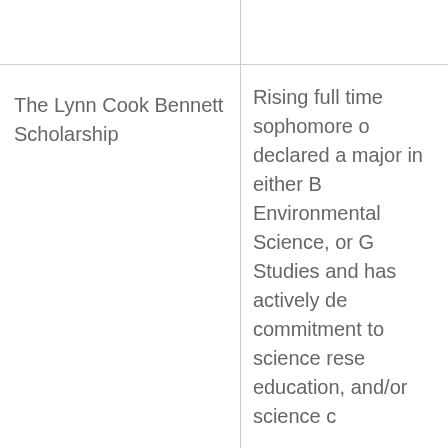| Scholarship Name | Eligibility Criteria |
| --- | --- |
|  | Rising full time sophomore or declared a major in either B Environmental Science, or G Studies and has actively de commitment to science rese education, and/or science c |
| The Lynn Cook Bennett Scholarship | Rising full time sophomore or declared a major in either B Environmental Science, or G Studies and has actively de commitment to science rese education, and/or science c |
| Ellen Haven Gould Alumni Scholarship | Freshman. Majoring in Com |
| Wales Wallace Communication Studies Endowment | Junior or senior majoring in Studies. Full-time student. M overall with a minimum 3.0 Communication clases. Mus in the Communication Studi show evidence of creativity |